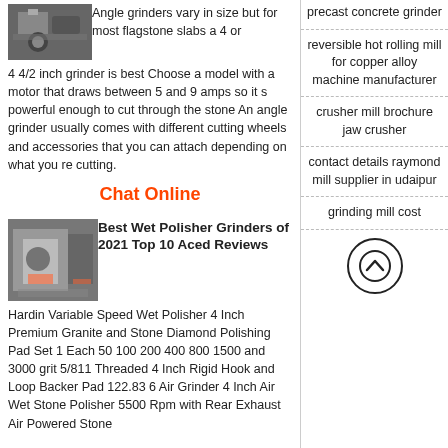[Figure (photo): Small thumbnail image of angle grinder in use]
Angle grinders vary in size but for most flagstone slabs a 4 or 4 4/2 inch grinder is best Choose a model with a motor that draws between 5 and 9 amps so it s powerful enough to cut through the stone An angle grinder usually comes with different cutting wheels and accessories that you can attach depending on what you re cutting.
Chat Online
[Figure (photo): Thumbnail image of wet polisher grinder machine]
Best Wet Polisher Grinders of 2021 Top 10 Aced Reviews
Hardin Variable Speed Wet Polisher 4 Inch Premium Granite and Stone Diamond Polishing Pad Set 1 Each 50 100 200 400 800 1500 and 3000 grit 5/811 Threaded 4 Inch Rigid Hook and Loop Backer Pad 122.83 6 Air Grinder 4 Inch Air Wet Stone Polisher 5500 Rpm with Rear Exhaust Air Powered Stone
precast concrete grinder
reversible hot rolling mill for copper alloy machine manufacturer
crusher mill brochure jaw crusher
contact details raymond mill supplier in udaipur
grinding mill cost